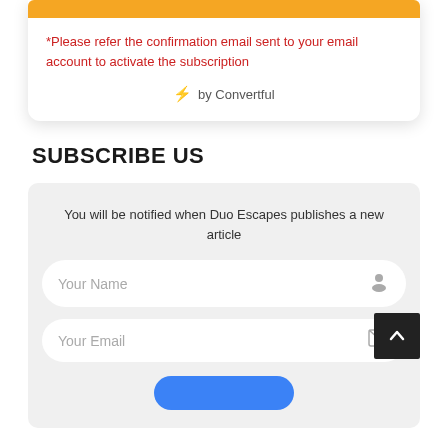*Please refer the confirmation email sent to your email account to activate the subscription
⚡ by Convertful
SUBSCRIBE US
You will be notified when Duo Escapes publishes a new article
Your Name
Your Email